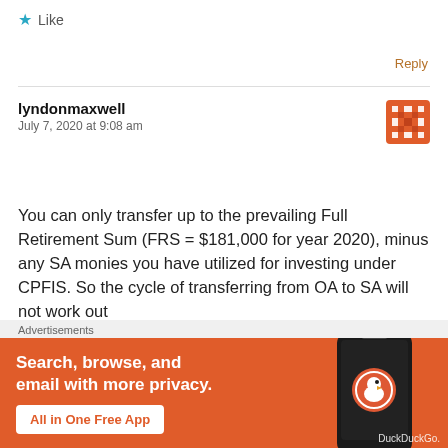★ Like
Reply
lyndonmaxwell
July 7, 2020 at 9:08 am
You can only transfer up to the prevailing Full Retirement Sum (FRS = $181,000 for year 2020), minus any SA monies you have utilized for investing under CPFIS. So the cycle of transferring from OA to SA will not work out
[Figure (screenshot): DuckDuckGo advertisement banner: Search, browse, and email with more privacy. All in One Free App. Shows a phone with DuckDuckGo app.]